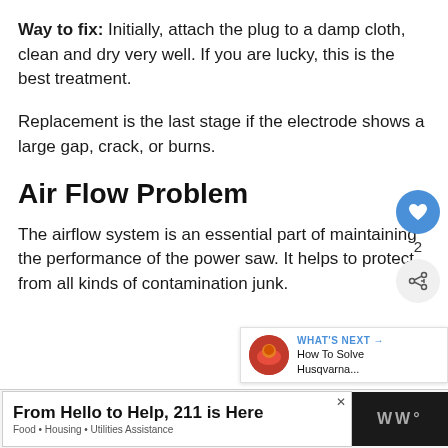Way to fix: Initially, attach the plug to a damp cloth, clean and dry very well. If you are lucky, this is the best treatment.
Replacement is the last stage if the electrode shows a large gap, crack, or burns.
Air Flow Problem
The airflow system is an essential part of maintaining the performance of the power saw. It helps to protect from all kinds of contamination junk.
[Figure (other): Website UI overlay: heart/like button (blue circle, count 2) and share button]
[Figure (other): What's Next panel showing thumbnail image and text 'How To Solve Husqvarna...']
From Hello to Help, 211 is Here
Food • Housing • Utilities Assistance